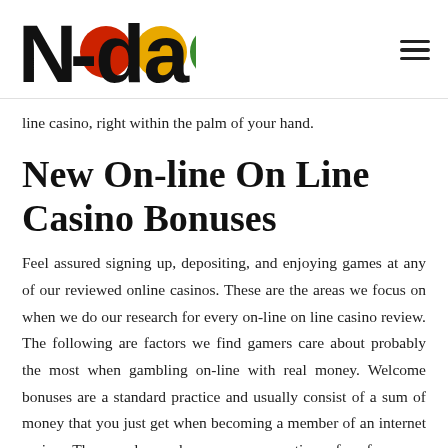Nada [logo with colored circles]
line casino, right within the palm of your hand.
New On-line On Line Casino Bonuses
Feel assured signing up, depositing, and enjoying games at any of our reviewed online casinos. These are the areas we focus on when we do our research for every on-line on line casino review. The following are factors we find gamers care about probably the most when gambling on-line with real money. Welcome bonuses are a standard practice and usually consist of a sum of money that you just get when becoming a member of an internet casino. These welcome bonuses are sometimes free from any deposit requirement, meaning that you just don't have to put down any cash to start enjoying. It is an effective way to